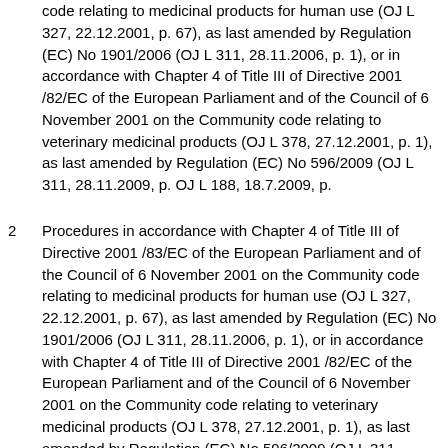code relating to medicinal products for human use (OJ L 327, 22.12.2001, p. 67), as last amended by Regulation (EC) No 1901/2006 (OJ L 311, 28.11.2006, p. 1), or in accordance with Chapter 4 of Title III of Directive 2001 /82/EC of the European Parliament and of the Council of 6 November 2001 on the Community code relating to veterinary medicinal products (OJ L 378, 27.12.2001, p. 1), as last amended by Regulation (EC) No 596/2009 (OJ L 311, 28.11.2009, p. OJ L 188, 18.7.2009, p.
2 Procedures in accordance with Chapter 4 of Title III of Directive 2001 /83/EC of the European Parliament and of the Council of 6 November 2001 on the Community code relating to medicinal products for human use (OJ L 327, 22.12.2001, p. 67), as last amended by Regulation (EC) No 1901/2006 (OJ L 311, 28.11.2006, p. 1), or in accordance with Chapter 4 of Title III of Directive 2001 /82/EC of the European Parliament and of the Council of 6 November 2001 on the Community code relating to veterinary medicinal products (OJ L 378, 27.12.2001, p. 1), as last amended by Regulation (EC) No 596/2009 (OJ L 311, 28.11.2009, p. OJ L 188, 18.7.2009, p.